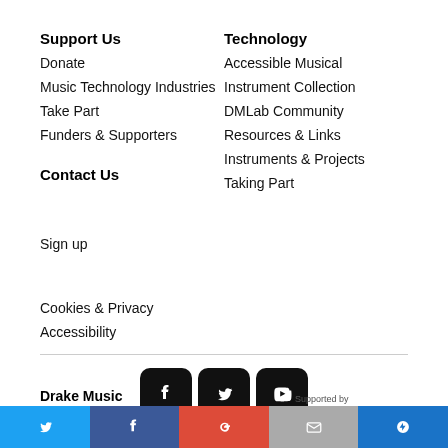Support Us
Donate
Music Technology Industries
Take Part
Funders & Supporters
Technology
Accessible Musical Instrument Collection
DMLab Community
Resources & Links
Instruments & Projects
Taking Part
Contact Us
Sign up
Cookies & Privacy
Accessibility
[Figure (infographic): Social media icon buttons: Facebook, Twitter, YouTube, SoundCloud, Email]
Drake Music
Supported by
[Figure (infographic): Bottom bar with Twitter, Facebook, Google+, Email, and another social icon buttons in color]